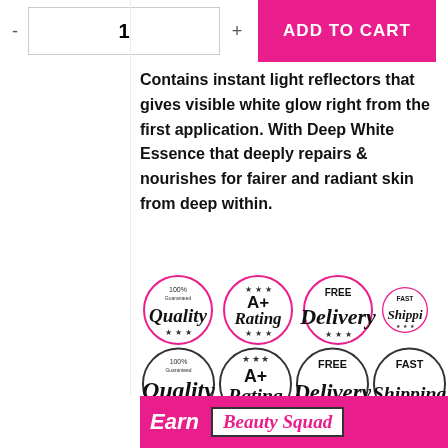[Figure (screenshot): Add to cart UI with quantity selector showing '1' and pink 'ADD TO CART' button]
Contains instant light reflectors that gives visible white glow right from the first application. With Deep White Essence that deeply repairs & nourishes for fairer and radiant skin from deep within.
[Figure (infographic): Row of four circular badge icons: 100% Guaranteed Quality, A+ Rating, FREE Delivery, FAST Shipping (partially cut off)]
[Figure (infographic): Row of four circular badge icons (larger): 100% Guaranteed Quality, A+ Rating, FREE Delivery, FAST Shipping]
[Figure (infographic): Bottom pink banner with 'Earn' text and 'Beauty Squad' logo in white box]